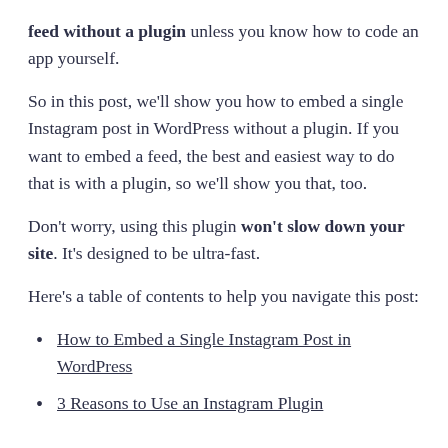feed without a plugin unless you know how to code an app yourself.
So in this post, we'll show you how to embed a single Instagram post in WordPress without a plugin. If you want to embed a feed, the best and easiest way to do that is with a plugin, so we'll show you that, too.
Don't worry, using this plugin won't slow down your site. It's designed to be ultra-fast.
Here's a table of contents to help you navigate this post:
How to Embed a Single Instagram Post in WordPress
3 Reasons to Use an Instagram Plugin